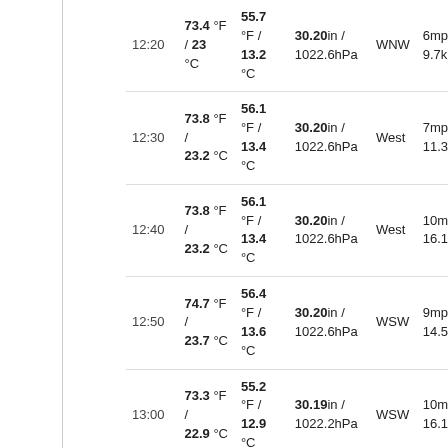| Time | Temp | Dew Point | Pressure | Wind Dir | Wind Speed |  |
| --- | --- | --- | --- | --- | --- | --- |
| 12:20 | 73.4 °F / 23 °C | 55.7 °F / 13.2 °C | 30.20in / 1022.6hPa | WNW | 6mph / 9.7km/h | 1 |
| 12:30 | 73.8 °F / 23.2 °C | 56.1 °F / 13.4 °C | 30.20in / 1022.6hPa | West | 7mph / 11.3km/h | 2 |
| 12:40 | 73.8 °F / 23.2 °C | 56.1 °F / 13.4 °C | 30.20in / 1022.6hPa | West | 10mph / 16.1km/h | 2 |
| 12:50 | 74.7 °F / 23.7 °C | 56.4 °F / 13.6 °C | 30.20in / 1022.6hPa | WSW | 9mph / 14.5km/h | 1 |
| 13:00 | 73.3 °F / 22.9 °C | 55.2 °F / 12.9 °C | 30.19in / 1022.2hPa | WSW | 10mph / 16.1km/h | 2 |
|  | 73.2 °F / | 55.1 °F / | 30.20in / | 8mph / |  |  |